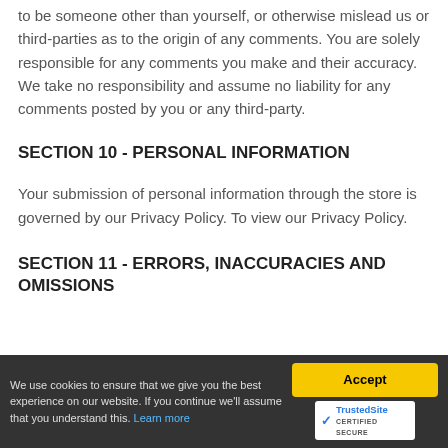to be someone other than yourself, or otherwise mislead us or third-parties as to the origin of any comments. You are solely responsible for any comments you make and their accuracy. We take no responsibility and assume no liability for any comments posted by you or any third-party.
SECTION 10 - PERSONAL INFORMATION
Your submission of personal information through the store is governed by our Privacy Policy. To view our Privacy Policy.
SECTION 11 - ERRORS, INACCURACIES AND OMISSIONS
We use cookies to ensure that we give you the best experience on our website. If you continue we'll assume that you understand this. Learn more
Accept
[Figure (logo): TrustedSite Certified Secure badge with blue shield checkmark icon]